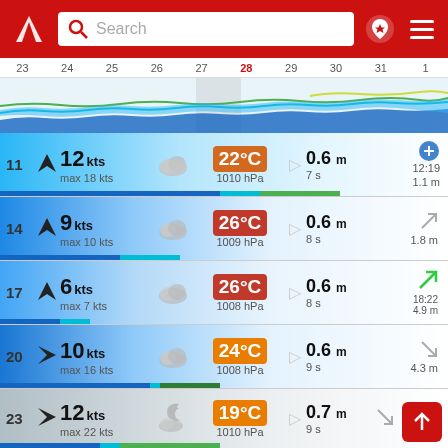[Figure (screenshot): Weather app header with red background, Windy logo (triangle), search bar, pin icon, and hamburger menu]
[Figure (line-chart): Wind/wave forecast chart showing colored wavy lines (wind speed and wave height over dates 23-1), with date 28 highlighted in gray]
11 12 kts max 18 kts | cloud icon | 22°C 1010 hPa | wave direction | 0.6 m 7 s | 12:19 1.1 m
14 9 kts max 10 kts | cloud icon | 26°C 1009 hPa | wave direction | 0.6 m 8 s | 1.8 m
17 6 kts max 7 kts | cloud icon | 26°C 1008 hPa | wave direction | 0.6 m 8 s | 18:22 4.9 m
20 10 kts max 16 kts | cloud icon | 24°C 1008 hPa | wave direction | 0.6 m 9 s | 4.3 m
23 12 kts max 22 kts | cloud/moon icon | 19°C 1010 hPa | wave direction | 0.7 m 9 s